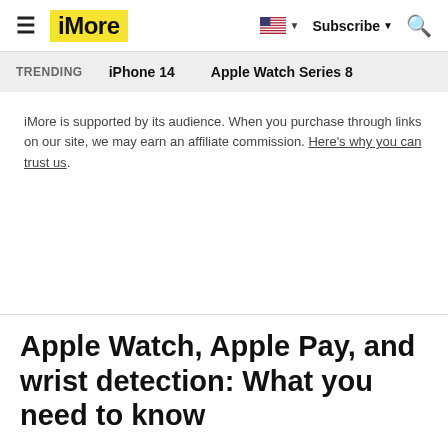iMore | iPhone 14 | Apple Watch Series 8
iMore is supported by its audience. When you purchase through links on our site, we may earn an affiliate commission. Here's why you can trust us.
Apple Watch, Apple Pay, and wrist detection: What you need to know